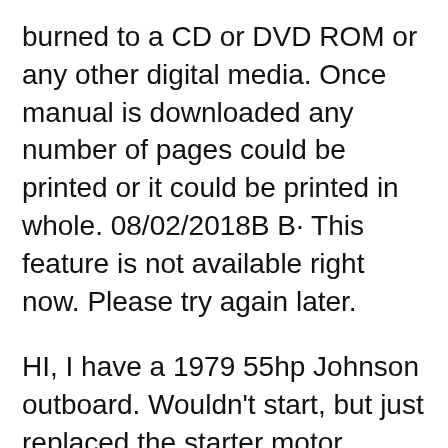burned to a CD or DVD ROM or any other digital media. Once manual is downloaded any number of pages could be printed or it could be printed in whole. 08/02/2018B B· This feature is not available right now. Please try again later.
HI, I have a 1979 55hp Johnson outboard. Wouldn't start, but just replaced the starter motor yesterday and ГЦТ'S ALIVE. Problem is it won't idle in neutral. I've replaced the spark plugs and drained and replaced the fuel. Any advice would be appreciated. thanks, Paul "1978 Johnson 55 HP Outboards Service Manual" manual can be saved to any computer hard drive, flash